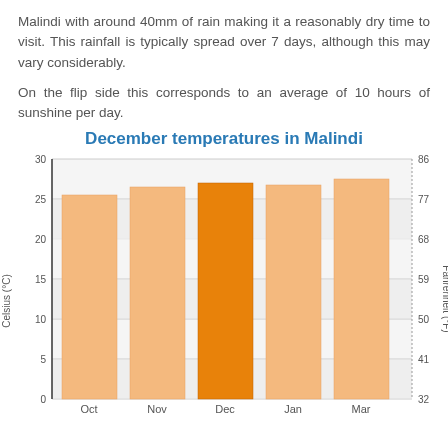Malindi with around 40mm of rain making it a reasonably dry time to visit. This rainfall is typically spread over 7 days, although this may vary considerably.
On the flip side this corresponds to an average of 10 hours of sunshine per day.
December temperatures in Malindi
[Figure (bar-chart): December temperatures in Malindi]